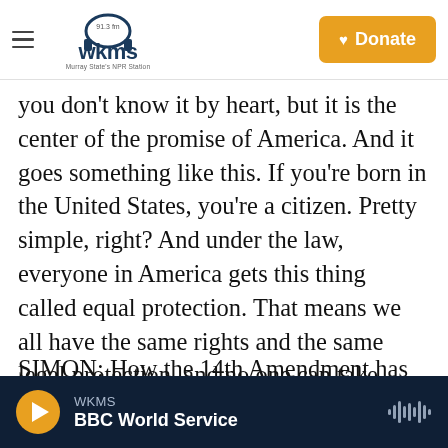WKMS 91.3 FM — Murray State's NPR Station | Donate
you don't know it by heart, but it is the center of the promise of America. And it goes something like this. If you're born in the United States, you're a citizen. Pretty simple, right? And under the law, everyone in America gets this thing called equal protection. That means we all have the same rights and the same legal protection, and no one can take those away without due process. That's your day in court.
SIMON: How the 14th Amendment has grown to include African Americans, women,
WKMS — BBC World Service